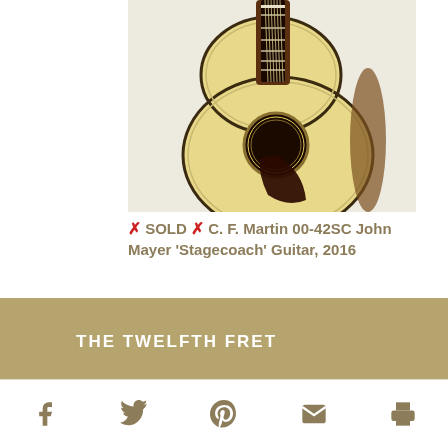[Figure (photo): Acoustic guitar (C.F. Martin 00-42SC) photographed from above, showing spruce top with ornate purfling, ebony fretboard, and dark tortoiseshell pickguard against a light background.]
✗SOLD✗ C. F. Martin 00-42SC John Mayer 'Stagecoach' Guitar, 2016
THE TWELFTH FRET